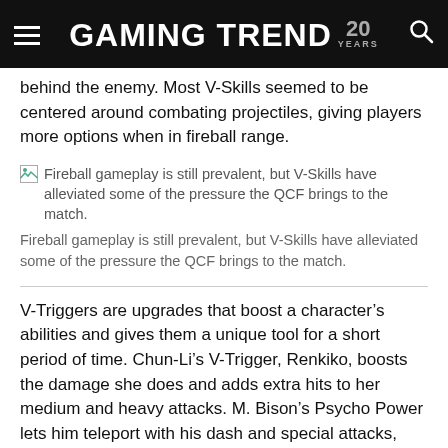GAMING TREND 20 YEARS
behind the enemy. Most V-Skills seemed to be centered around combating projectiles, giving players more options when in fireball range.
[Figure (photo): Broken image placeholder for: Fireball gameplay is still prevalent, but V-Skills have alleviated some of the pressure the QCF brings to the match.]
Fireball gameplay is still prevalent, but V-Skills have alleviated some of the pressure the QCF brings to the match.
V-Triggers are upgrades that boost a character’s abilities and gives them a unique tool for a short period of time. Chun-Li’s V-Trigger, Renkiko, boosts the damage she does and adds extra hits to her medium and heavy attacks. M. Bison’s Psycho Power lets him teleport with his dash and special attacks, moving through projectiles and making him hard to follow during moves like his somersault.